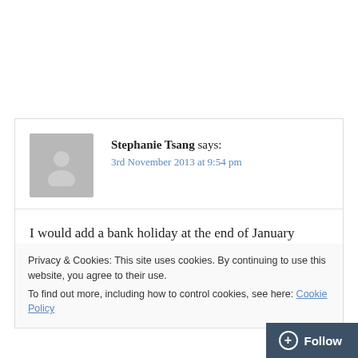Stephanie Tsang says:
3rd November 2013 at 9:54 pm
I would add a bank holiday at the end of January because it’s such a depressing month.
Privacy & Cookies: This site uses cookies. By continuing to use this website, you agree to their use.
To find out more, including how to control cookies, see here: Cookie Policy
Close and accept
+ Follow